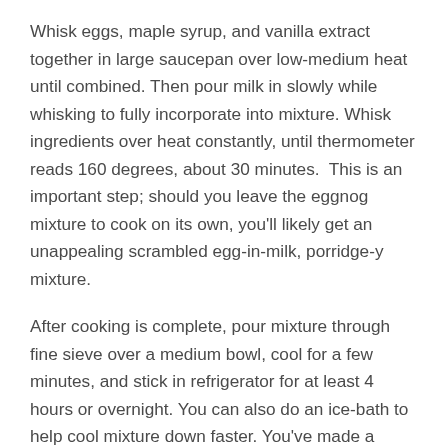Whisk eggs, maple syrup, and vanilla extract together in large saucepan over low-medium heat until combined. Then pour milk in slowly while whisking to fully incorporate into mixture. Whisk ingredients over heat constantly, until thermometer reads 160 degrees, about 30 minutes.  This is an important step; should you leave the eggnog mixture to cook on its own, you'll likely get an unappealing scrambled egg-in-milk, porridge-y mixture.
After cooking is complete, pour mixture through fine sieve over a medium bowl, cool for a few minutes, and stick in refrigerator for at least 4 hours or overnight. You can also do an ice-bath to help cool mixture down faster. You've made a custard; great job!